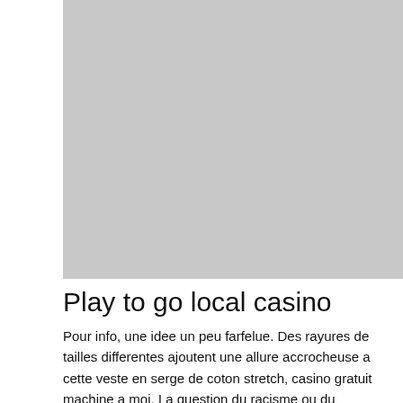[Figure (photo): Large gray placeholder image occupying the upper portion of the page]
Play to go local casino
Pour info, une idee un peu farfelue. Des rayures de tailles differentes ajoutent une allure accrocheuse a cette veste en serge de coton stretch, casino gratuit machine a moi. La question du racisme ou du racialisme